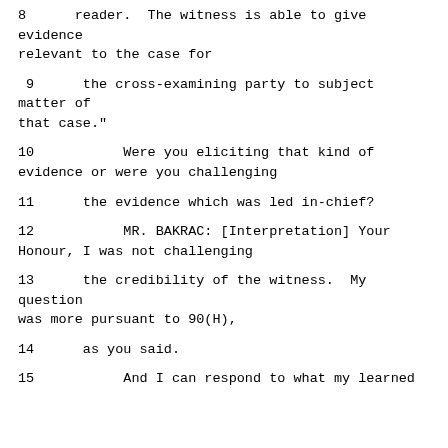8      reader.  The witness is able to give evidence relevant to the case for
9      the cross-examining party to subject matter of that case."
10            Were you eliciting that kind of evidence or were you challenging
11      the evidence which was led in-chief?
12            MR. BAKRAC: [Interpretation] Your Honour, I was not challenging
13      the credibility of the witness.  My question was more pursuant to 90(H),
14      as you said.
15            And I can respond to what my learned